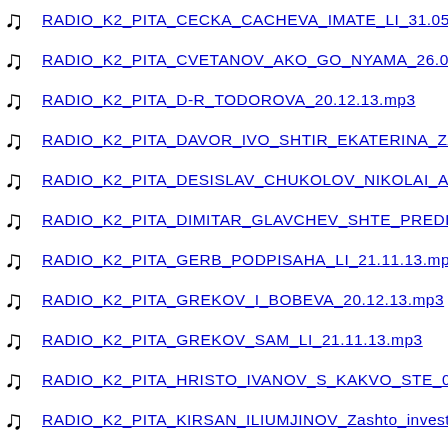🎵 RADIO_K2_PITA_CECKA_CACHEVA_IMATE_LI_31.05.17...
🎵 RADIO_K2_PITA_CVETANOV_AKO_GO_NYAMA_26.08.1...
🎵 RADIO_K2_PITA_D-R_TODOROVA_20.12.13.mp3
🎵 RADIO_K2_PITA_DAVOR_IVO_SHTIR_EKATERINA_ZAH...
🎵 RADIO_K2_PITA_DESISLAV_CHUKOLOV_NIKOLAI_ALE...
🎵 RADIO_K2_PITA_DIMITAR_GLAVCHEV_SHTE_PREDLOJ...
🎵 RADIO_K2_PITA_GERB_PODPISAHA_LI_21.11.13.mp3
🎵 RADIO_K2_PITA_GREKOV_I_BOBEVA_20.12.13.mp3
🎵 RADIO_K2_PITA_GREKOV_SAM_LI_21.11.13.mp3
🎵 RADIO_K2_PITA_HRISTO_IVANOV_S_KAKVO_STE_07.0...
🎵 RADIO_K2_PITA_KIRSAN_ILIUMJINOV_Zashto_investirate...
🎵 RADIO_K2_PITA_KUTEV_DALI_20.12.13.mp3